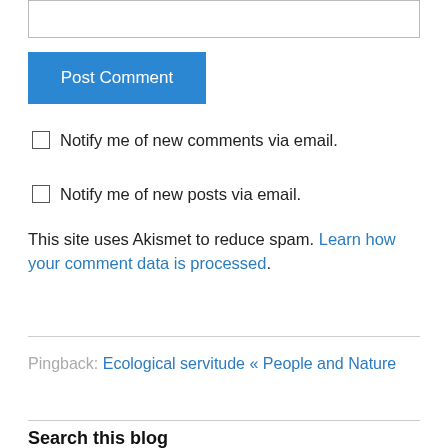[Figure (screenshot): Text input box at top of page]
Post Comment
Notify me of new comments via email.
Notify me of new posts via email.
This site uses Akismet to reduce spam. Learn how your comment data is processed.
Pingback: Ecological servitude « People and Nature
Search this blog